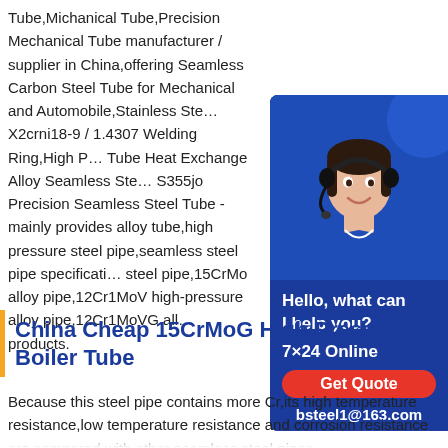Tube,Michanical Tube,Precision Mechanical Tube manufacturer / supplier in China,offering Seamless Carbon Steel Tube for Mechanical and Automobile,Stainless Steel X2crni18-9 / 1.4307 Welding Ring,High Pressure Tube Heat Exchange Alloy Seamless Steel S355jo Precision Seamless Steel Tube - mainly provides alloy tube,high pressure steel pipe,seamless steel pipe specifications steel pipe,15CrMo alloy pipe,12Cr1MoV high-pressure alloy pipe,12Cr1MoVG alloy products.
[Figure (photo): Customer service representative with headset smiling, with chat widget showing Hello, what can I help you? 7x24 Online, Get Quote button, and bsteel1@163.com email]
China Cheap 15CrMoG High Pressure Boiler Tube
Because this steel pipe contains more Cr,its high temperature resistance,low temperature resistance and corrosion resistance are compared with other seamless steel pipes.